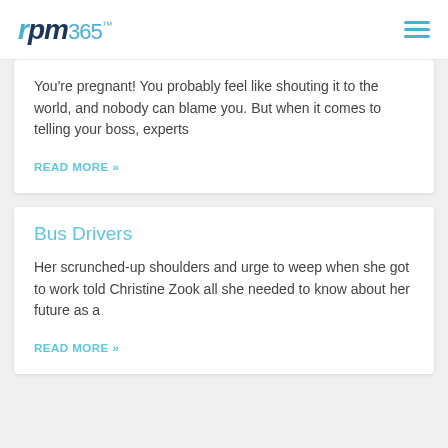rpm365™
You're pregnant! You probably feel like shouting it to the world, and nobody can blame you. But when it comes to telling your boss, experts
READ MORE »
Bus Drivers
Her scrunched-up shoulders and urge to weep when she got to work told Christine Zook all she needed to know about her future as a
READ MORE »